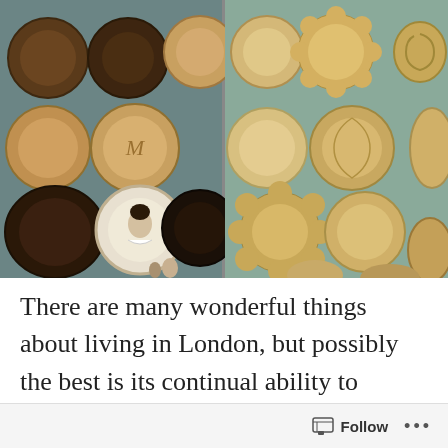[Figure (photo): Two side-by-side photos of a museum wall display showing numerous antique wooden breadboards and decorative plates mounted on a teal/grey wall. Left photo shows darker and lighter wooden rounds including one white plate with a portrait. Right photo shows lighter-colored carved wooden breadboards with various decorative patterns.]
There are many wonderful things about living in London, but possibly the best is its continual ability to surprise – and inform. I'd never heard of the Antique Breadboard Museum until a
Follow ...